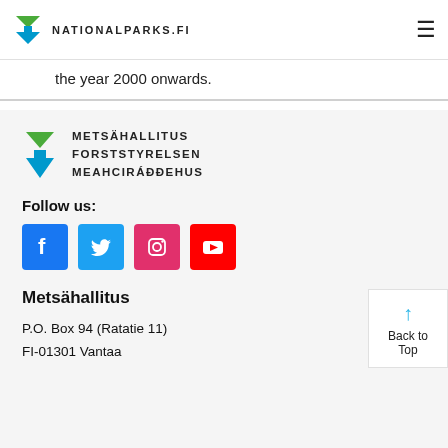NATIONALPARKS.FI
the year 2000 onwards.
[Figure (logo): Metsähallitus logo with stylized M mark and three lines: METSÄHALLITUS, FORSTSTYRELSEN, MEAHCIRÁÐÐEHUS]
Follow us:
[Figure (illustration): Social media icons: Facebook (blue), Twitter (light blue), Instagram (pink/magenta), YouTube (red)]
Metsähallitus
P.O. Box 94 (Ratatie 11)
FI-01301 Vantaa